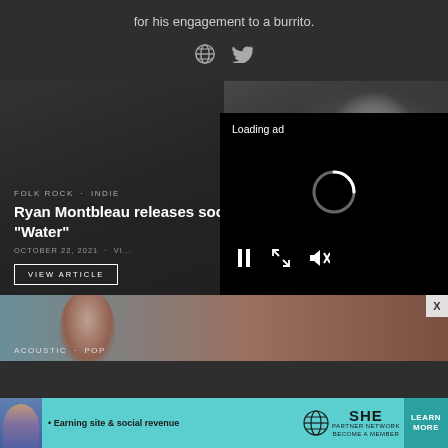for his engagement to a burrito.
[Figure (screenshot): Social icons: globe and Twitter bird icons]
[Figure (photo): Grayscale photo of a man holding something, used as article card background with overlay text]
FOLK ROCK , INDIE
Ryan Montbleau releases soothing and introspective EP, "Water"
OCTOBER 22, 2021 · VI...
VIEW ARTICLE
[Figure (screenshot): Loading ad overlay with spinner and media controls (pause, expand, mute)]
[Figure (photo): Second article card with a woman's face, teal/red-toned background]
ACOUSTIC , POP
[Figure (infographic): SHE Partner Network advertisement banner: Earning site & social revenue, LEARN MORE button]
• Earning site & social revenue
PARTNER NETWORK BECOME A MEMBER
LEARN MORE